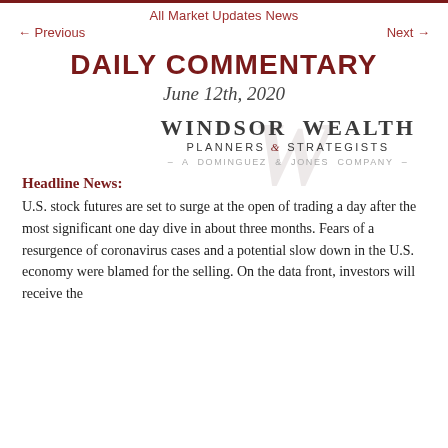All Market Updates News
← Previous    Next →
DAILY COMMENTARY
June 12th, 2020
[Figure (logo): Windsor Wealth Planners & Strategists - A Dominguez & Jones Company - logo with watermark W emblem]
Headline News:
U.S. stock futures are set to surge at the open of trading a day after the most significant one day dive in about three months. Fears of a resurgence of coronavirus cases and a potential slow down in the U.S. economy were blamed for the selling. On the data front, investors will receive the